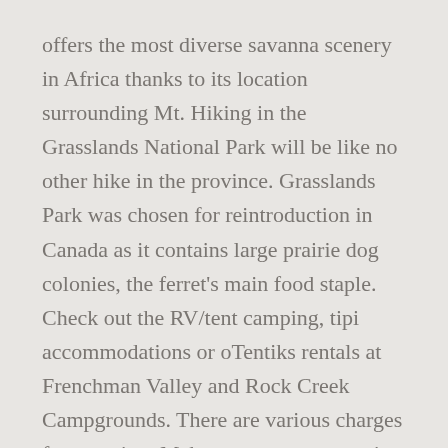offers the most diverse savanna scenery in Africa thanks to its location surrounding Mt. Hiking in the Grasslands National Park will be like no other hike in the province. Grasslands Park was chosen for reintroduction in Canada as it contains large prairie dog colonies, the ferret's main food staple. Check out the RV/tent camping, tipi accommodations or oTentiks rentals at Frenchman Valley and Rock Creek Campgrounds. There are various charges for camping. Make sure you are carrying adequate water, are carrying a compass (that you know how to use) and pick up maps from ... While Colorado is best known for its Rocky Mountain views—